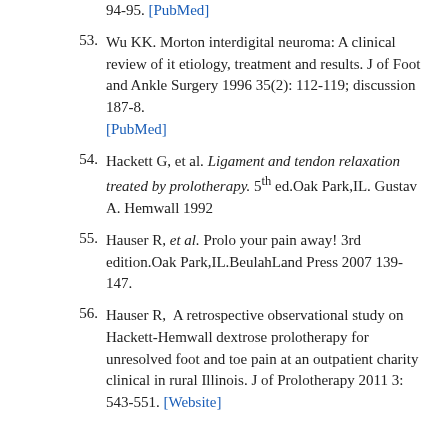94-95. [PubMed]
53. Wu KK. Morton interdigital neuroma: A clinical review of it etiology, treatment and results. J of Foot and Ankle Surgery 1996 35(2): 112-119; discussion 187-8. [PubMed]
54. Hackett G, et al. Ligament and tendon relaxation treated by prolotherapy. 5th ed.Oak Park,IL. Gustav A. Hemwall 1992
55. Hauser R, et al. Prolo your pain away! 3rd edition.Oak Park,IL.BeulahLand Press 2007 139-147.
56. Hauser R, A retrospective observational study on Hackett-Hemwall dextrose prolotherapy for unresolved foot and toe pain at an outpatient charity clinical in rural Illinois. J of Prolotherapy 2011 3: 543-551. [Website]